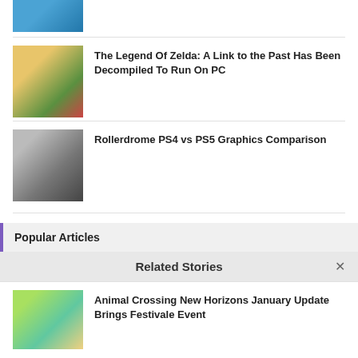[Figure (photo): Thumbnail image partially visible at top of page showing animated character (Sonic)]
[Figure (photo): Thumbnail image of Legend of Zelda character with bow]
The Legend Of Zelda: A Link to the Past Has Been Decompiled To Run On PC
[Figure (photo): Thumbnail image of Rollerdrome character in helmet]
Rollerdrome PS4 vs PS5 Graphics Comparison
Popular Articles
Related Stories
[Figure (photo): Thumbnail image of Animal Crossing New Horizons]
Animal Crossing New Horizons January Update Brings Festivale Event